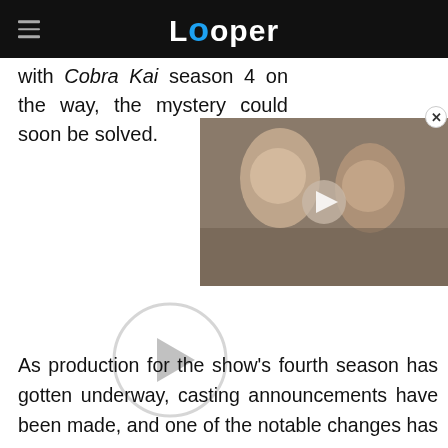Looper
with Cobra Kai season 4 on the way, the mystery could soon be solved.
[Figure (photo): Video thumbnail showing two people close together, with a play button overlay]
[Figure (other): Large circular play button]
As production for the show's fourth season has gotten underway, casting announcements have been made, and one of the notable changes has been the